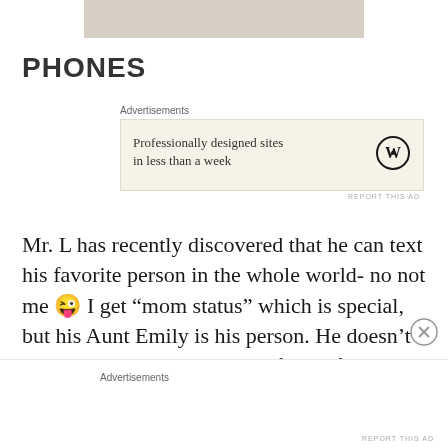[Figure (photo): Partial top image, beige/tan colored rectangle cropped at top]
PHONES
[Figure (other): Advertisement box: Professionally designed sites in less than a week, with WordPress logo]
Mr. L has recently discovered that he can text his favorite person in the whole world- no not me 😜 I get “mom status” which is special, but his Aunt Emily is his person. He doesn’t usually text words, his go to form of texting communication
Advertisements